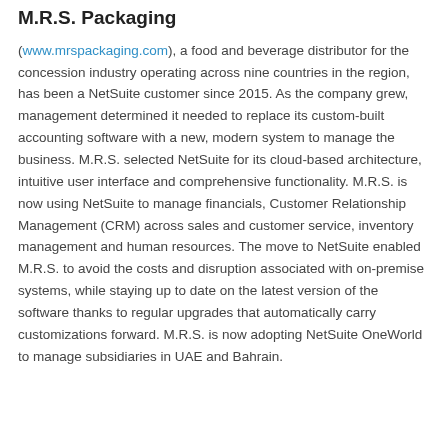M.R.S. Packaging
(www.mrspackaging.com), a food and beverage distributor for the concession industry operating across nine countries in the region, has been a NetSuite customer since 2015. As the company grew, management determined it needed to replace its custom-built accounting software with a new, modern system to manage the business. M.R.S. selected NetSuite for its cloud-based architecture, intuitive user interface and comprehensive functionality. M.R.S. is now using NetSuite to manage financials, Customer Relationship Management (CRM) across sales and customer service, inventory management and human resources. The move to NetSuite enabled M.R.S. to avoid the costs and disruption associated with on-premise systems, while staying up to date on the latest version of the software thanks to regular upgrades that automatically carry customizations forward. M.R.S. is now adopting NetSuite OneWorld to manage subsidiaries in UAE and Bahrain.